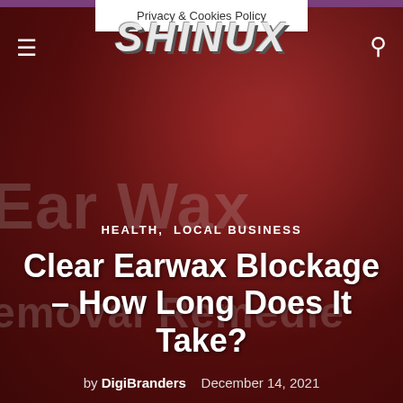Privacy & Cookies Policy
[Figure (logo): SHINUX website logo in bold italic metallic grey text]
HEALTH, LOCAL BUSINESS
Clear Earwax Blockage – How Long Does It Take?
by DigiBranders   December 14, 2021